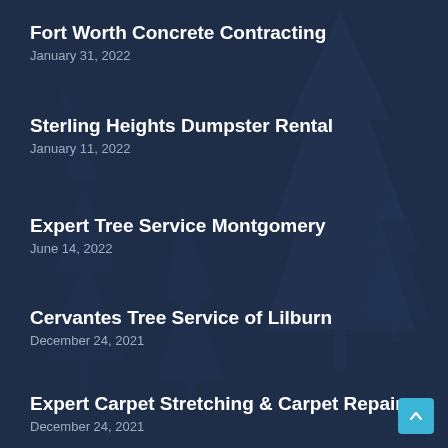Fort Worth Concrete Contracting
January 31, 2022
Sterling Heights Dumpster Rental
January 11, 2022
Expert Tree Service Montgomery
June 14, 2022
Cervantes Tree Service of Lilburn
December 24, 2021
Expert Carpet Stretching & Carpet Repair Co…
December 24, 2021